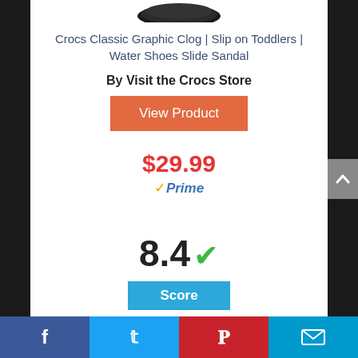[Figure (photo): Partial product image of a Crocs shoe at the top of the card]
Crocs Classic Graphic Clog | Slip on Toddlers | Water Shoes Slide Sandal
By Visit the Crocs Store
View Product
$29.99
✓Prime
8.4 ✓
Score
Facebook | Twitter | Pinterest | Email